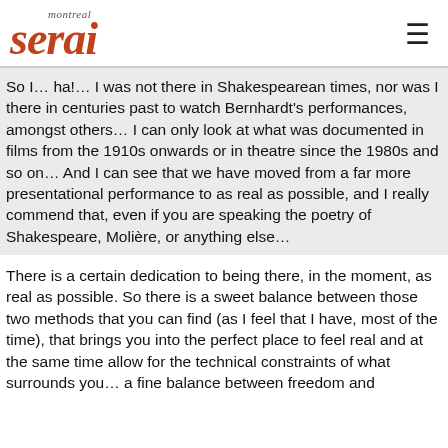[Figure (logo): Montreal Serai logo — 'montreal' in small italic text above 'serai' in large orange-red italic serif font]
So I… ha!… I was not there in Shakespearean times, nor was I there in centuries past to watch Bernhardt's performances, amongst others… I can only look at what was documented in films from the 1910s onwards or in theatre since the 1980s and so on… And I can see that we have moved from a far more presentational performance to as real as possible, and I really commend that, even if you are speaking the poetry of Shakespeare, Molière, or anything else…
There is a certain dedication to being there, in the moment, as real as possible. So there is a sweet balance between those two methods that you can find (as I feel that I have, most of the time), that brings you into the perfect place to feel real and at the same time allow for the technical constraints of what surrounds you… a fine balance between freedom and